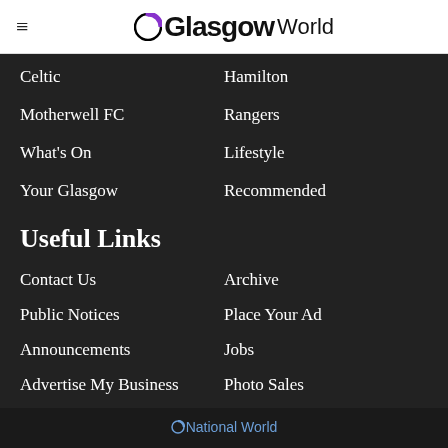Glasgow World
Celtic
Hamilton
Motherwell FC
Rangers
What's On
Lifestyle
Your Glasgow
Recommended
Useful Links
Contact Us
Archive
Public Notices
Place Your Ad
Announcements
Jobs
Advertise My Business
Photo Sales
Events
Subscribe
Readers Charter
©National World